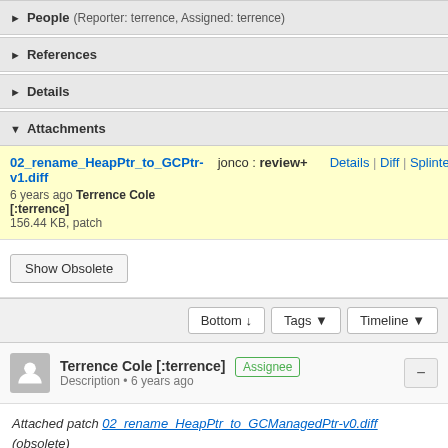People (Reporter: terrence, Assigned: terrence)
References
Details
Attachments
02_rename_HeapPtr_to_GCPtr-v1.diff  jonco : review+  Details | Diff | Splinter
6 years ago Terrence Cole [:terrence]
156.44 KB, patch
Show Obsolete
Bottom ↓  Tags ▼  Timeline ▼
Terrence Cole [:terrence]  Assignee
Description • 6 years ago
Attached patch 02_rename_HeapPtr_to_GCManagedPtr-v0.diff (obsolete) — Details — Splinter Review
I'm a bit less certain about this renaming. For one it's almost 400 lines: I really did not